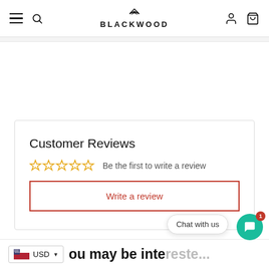BLACKWOOD
Customer Reviews
☆☆☆☆☆ Be the first to write a review
Write a review
USD
ou may be interested...
Chat with us